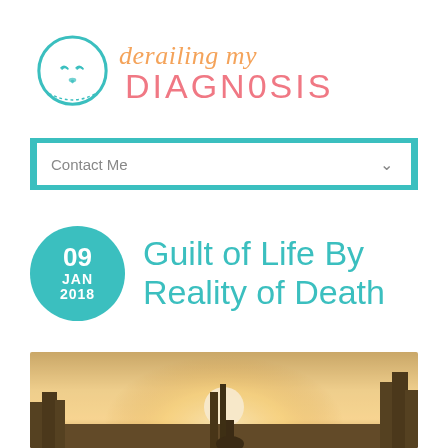[Figure (logo): Derailing My Diagnosis blog logo with teal face outline illustration and decorative script and display text]
Contact Me
Guilt of Life By Reality of Death
[Figure (photo): Outdoor photograph showing a person silhouetted against bright sunlight with trees in background]